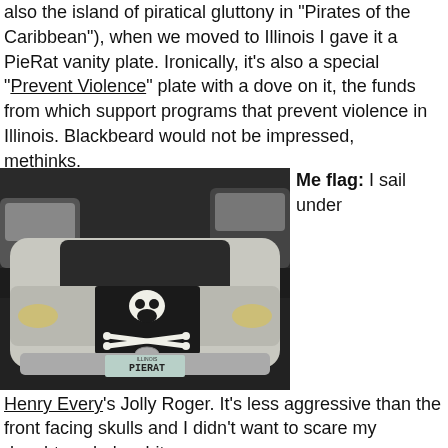also the island of piratical gluttony in "Pirates of the Caribbean"), when we moved to Illinois I gave it a PieRat vanity plate. Ironically, it's also a special "Prevent Violence" plate with a dove on it, the funds from which support programs that prevent violence in Illinois. Blackbeard would not be impressed, methinks.
[Figure (photo): Night-time photo of a silver Toyota Prius in a parking lot with a skull-and-crossbones Jolly Roger flag on the hood and an Illinois license plate reading PIERAT]
Me flag: I sail under
Henry Every's Jolly Roger. It's less aggressive than the front facing skulls and I didn't want to scare my daughter who's a bit